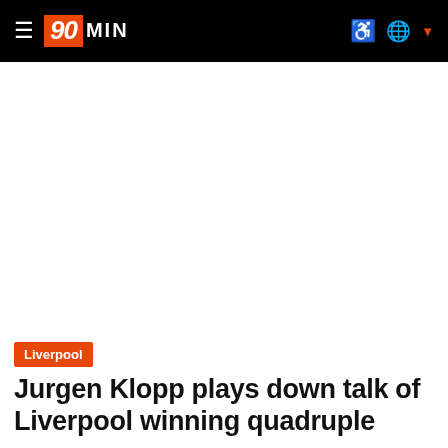90MIN
[Figure (other): White blank image placeholder area below the navigation bar]
Liverpool
Jurgen Klopp plays down talk of Liverpool winning quadruple